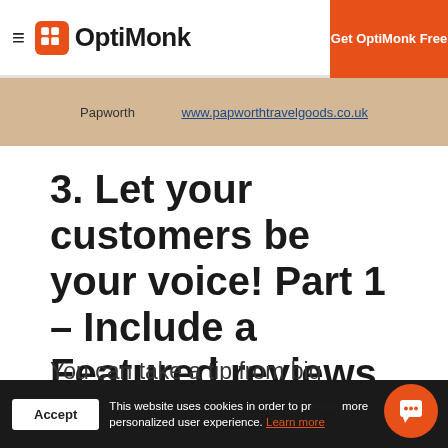OptiMonk — Get OptiMonk Free
| Papworth | www.papworthtravelgoods.co.uk |
3. Let your customers be your voice! Part 1 – Include a Featured reviews section
You can take a tip from big commerce by featuring reviews right on the main page...
This website uses cookies in order to provide you with a more personalized user experience. Learn more